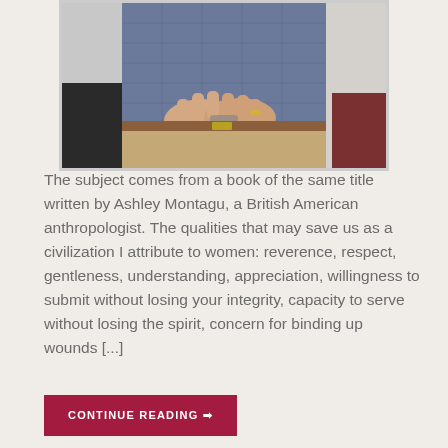[Figure (photo): A person wearing a blue checkered shirt and khaki pants with a brown belt, hands clasped together holding glasses, photographed from mid-torso down, in an indoor setting.]
The subject comes from a book of the same title written by Ashley Montagu, a British American anthropologist. The qualities that may save us as a civilization I attribute to women: reverence, respect, gentleness, understanding, appreciation, willingness to submit without losing your integrity, capacity to serve without losing the spirit, concern for binding up wounds [...]
CONTINUE READING →